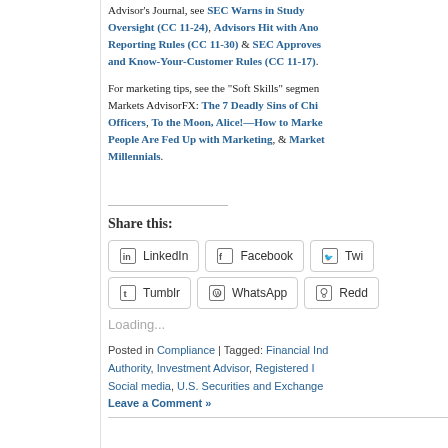Advisor's Journal, see SEC Warns in Study Oversight (CC 11-24), Advisors Hit with Ano Reporting Rules (CC 11-30) & SEC Approves and Know-Your-Customer Rules (CC 11-17).
For marketing tips, see the "Soft Skills" segme Markets AdvisorFX: The 7 Deadly Sins of Chi Officers, To the Moon, Alice!—How to Marke People Are Fed Up with Marketing, & Market Millennials.
Share this:
LinkedIn  Facebook  Twi  Tumblr  WhatsApp  Redd
Loading...
Posted in Compliance | Tagged: Financial Ind Authority, Investment Advisor, Registered I Social media, U.S. Securities and Exchange Leave a Comment »